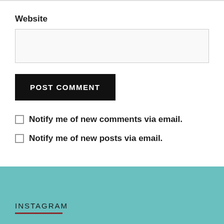Website
[Figure (screenshot): Website text input field — empty rectangular input box with light gray background and border]
[Figure (screenshot): POST COMMENT button — black rectangle with white uppercase bold text]
Notify me of new comments via email.
Notify me of new posts via email.
INSTAGRAM